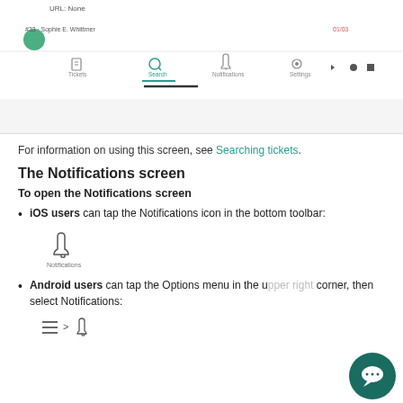[Figure (screenshot): Mobile app screenshot showing a ticket search screen with navigation bar (Tickets, Search, Notifications, Settings) and Android navigation buttons. Shows ticket #33 Sophie E. Whittmer with 01/03.]
For information on using this screen, see Searching tickets.
The Notifications screen
To open the Notifications screen
iOS users can tap the Notifications icon in the bottom toolbar:
[Figure (illustration): Bell icon with label Notifications below it]
Android users can tap the Options menu in the upper right corner, then select Notifications:
[Figure (illustration): Hamburger menu icon > bell icon]